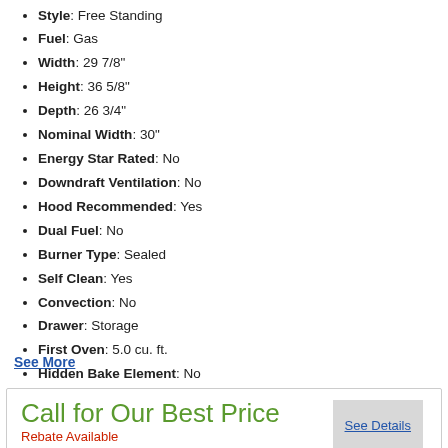Style: Free Standing
Fuel: Gas
Width: 29 7/8"
Height: 36 5/8"
Depth: 26 3/4"
Nominal Width: 30"
Energy Star Rated: No
Downdraft Ventilation: No
Hood Recommended: Yes
Dual Fuel: No
Burner Type: Sealed
Self Clean: Yes
Convection: No
Drawer: Storage
First Oven: 5.0 cu. ft.
Hidden Bake Element: No
Continuous Grate: Yes
Sabbath Mode: No
WiFi Connected: No
See More
Call for Our Best Price
Rebate Available
See Details